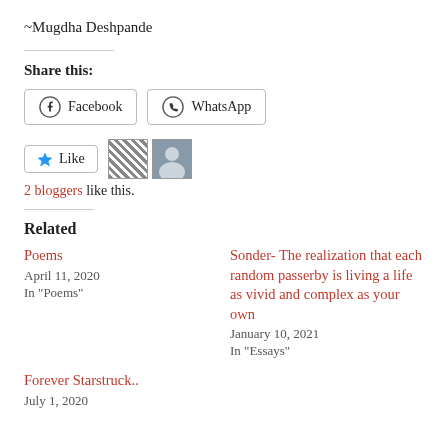~Mugdha Deshpande
Share this:
Facebook  WhatsApp
Like  2 bloggers like this.
Related
Poems
April 11, 2020
In "Poems"
Sonder- The realization that each random passerby is living a life as vivid and complex as your own
January 10, 2021
In "Essays"
Forever Starstruck..
July 1, 2020